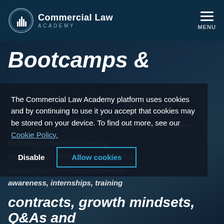Commercial Law Academy — MENU
Bootcamps &
The Commercial Law Academy platform uses cookies and by continuing to use it you accept that cookies may be stored on your device. To find out more, see our Cookie Policy.
Disable | Allow cookies
...City Career ...bootcamps and masterclasses, including sessions covering applications, interviews, networking, assessment centres, commercial awareness, internships, training contracts, growth mindsets, Q&As and